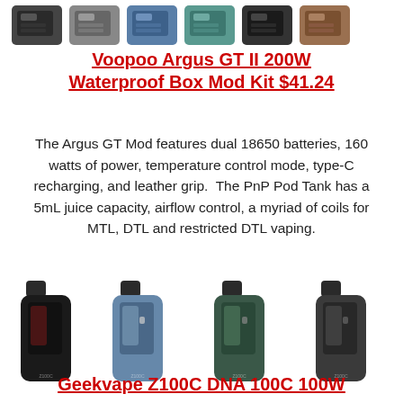[Figure (photo): Row of Voopoo Argus GT II box mod devices in various colors at top of page]
Voopoo Argus GT II 200W Waterproof Box Mod Kit $41.24
The Argus GT Mod features dual 18650 batteries, 160 watts of power, temperature control mode, type-C recharging, and leather grip.  The PnP Pod Tank has a 5mL juice capacity, airflow control, a myriad of coils for MTL, DTL and restricted DTL vaping.
[Figure (photo): Four Geekvape Z100C DNA 100C 100W tube-style pod mod devices in black, blue/silver, green, and dark grey colorways]
Geekvape Z100C DNA 100C 100W